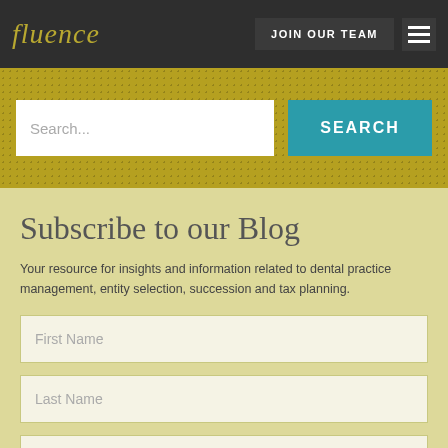[Figure (logo): Fluence logo in italic gold text on dark background]
JOIN OUR TEAM
[Figure (infographic): Search bar with placeholder 'Search...' and a teal SEARCH button on gold dotted background]
Subscribe to our Blog
Your resource for insights and information related to dental practice management, entity selection, succession and tax planning.
First Name
Last Name
Email Address